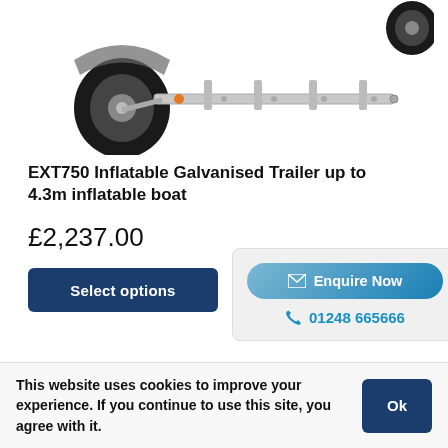[Figure (photo): Partial view of a galvanised boat trailer (EXT750) showing wheels, axle, and trailer frame against white background]
EXT750 Inflatable Galvanised Trailer up to 4.3m inflatable boat
£2,237.00
Select options
Enquire Now
01248 665666
[Figure (photo): Partial view of another boat trailer product]
This website uses cookies to improve your experience. If you continue to use this site, you agree with it.
Ok